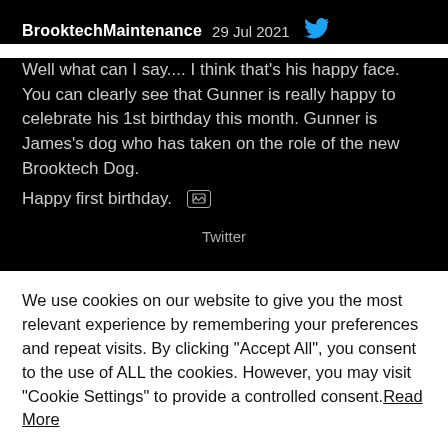BrooktechMaintenance  29 Jul 2021
Well what can I say.... I think that's his happy face. You can clearly see that Gunner is really happy to celebrate his 1st birthday this month. Gunner is James's dog who has taken on the role of the new Brooktech Dog.
Happy first birthday. [image icon]
Twitter
We use cookies on our website to give you the most relevant experience by remembering your preferences and repeat visits. By clicking “Accept All”, you consent to the use of ALL the cookies. However, you may visit "Cookie Settings" to provide a controlled consent.Read More
Cookie Settings
Accept All